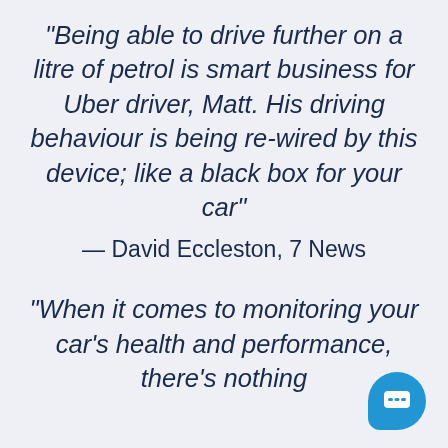“Being able to drive further on a litre of petrol is smart business for Uber driver, Matt. His driving behaviour is being re-wired by this device; like a black box for your car”
— David Eccleston, 7 News
“When it comes to monitoring your car’s health and performance, there’s nothing